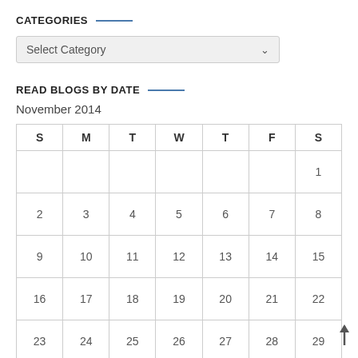CATEGORIES
Select Category
READ BLOGS BY DATE
November 2014
| S | M | T | W | T | F | S |
| --- | --- | --- | --- | --- | --- | --- |
|  |  |  |  |  |  | 1 |
| 2 | 3 | 4 | 5 | 6 | 7 | 8 |
| 9 | 10 | 11 | 12 | 13 | 14 | 15 |
| 16 | 17 | 18 | 19 | 20 | 21 | 22 |
| 23 | 24 | 25 | 26 | 27 | 28 | 29 |